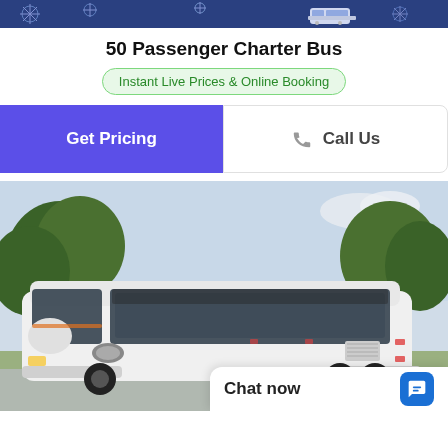[Figure (photo): Top decorative banner with blue/purple snowflake or pattern background and a white bus icon]
50 Passenger Charter Bus
Instant Live Prices & Online Booking
Get Pricing
Call Us
[Figure (photo): A large white 50-passenger charter bus parked outdoors with trees in the background on a sunny day]
Chat now